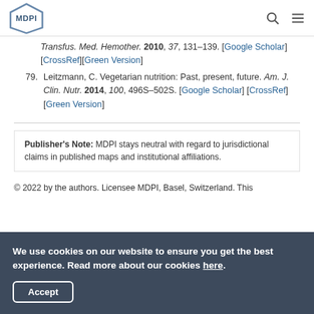MDPI [logo with search and menu icons]
Transfus. Med. Hemother. 2010, 37, 131–139. [Google Scholar] [CrossRef][Green Version]
79. Leitzmann, C. Vegetarian nutrition: Past, present, future. Am. J. Clin. Nutr. 2014, 100, 496S–502S. [Google Scholar] [CrossRef][Green Version]
Publisher's Note: MDPI stays neutral with regard to jurisdictional claims in published maps and institutional affiliations.
© 2022 by the authors. Licensee MDPI, Basel, Switzerland. This
We use cookies on our website to ensure you get the best experience. Read more about our cookies here. Accept